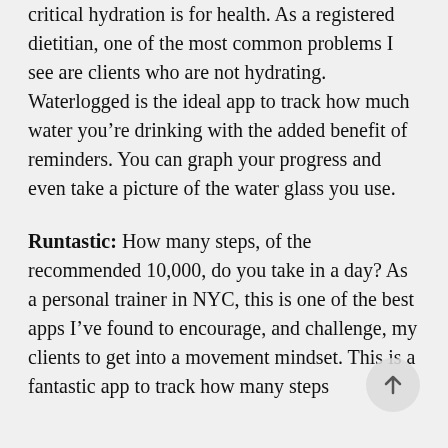critical hydration is for health. As a registered dietitian, one of the most common problems I see are clients who are not hydrating. Waterlogged is the ideal app to track how much water you’re drinking with the added benefit of reminders. You can graph your progress and even take a picture of the water glass you use.
Runtastic: How many steps, of the recommended 10,000, do you take in a day? As a personal trainer in NYC, this is one of the best apps I’ve found to encourage, and challenge, my clients to get into a movement mindset. This is a fantastic app to track how many steps